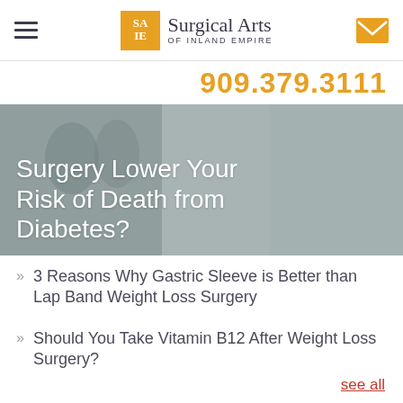Surgical Arts of Inland Empire
909.379.3111
[Figure (photo): Banner image with overlaid text: Surgery Lower Your Risk of Death from Diabetes?]
Surgery Lower Your Risk of Death from Diabetes?
3 Reasons Why Gastric Sleeve is Better than Lap Band Weight Loss Surgery
Should You Take Vitamin B12 After Weight Loss Surgery?
see all